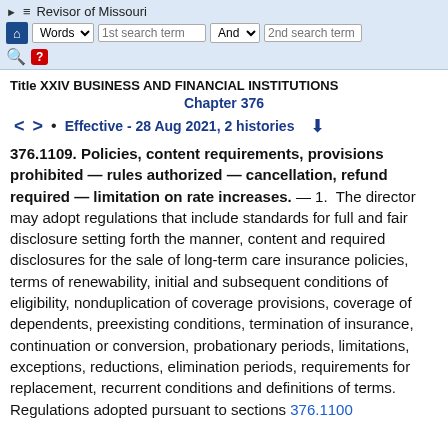Revisor of Missouri — Words | 1st search term | And | 2nd search term
Title XXIV BUSINESS AND FINANCIAL INSTITUTIONS
Chapter 376
Effective - 28 Aug 2021, 2 histories
376.1109. Policies, content requirements, provisions prohibited — rules authorized — cancellation, refund required — limitation on rate increases. — 1. The director may adopt regulations that include standards for full and fair disclosure setting forth the manner, content and required disclosures for the sale of long-term care insurance policies, terms of renewability, initial and subsequent conditions of eligibility, nonduplication of coverage provisions, coverage of dependents, preexisting conditions, termination of insurance, continuation or conversion, probationary periods, limitations, exceptions, reductions, elimination periods, requirements for replacement, recurrent conditions and definitions of terms. Regulations adopted pursuant to sections 376.1100